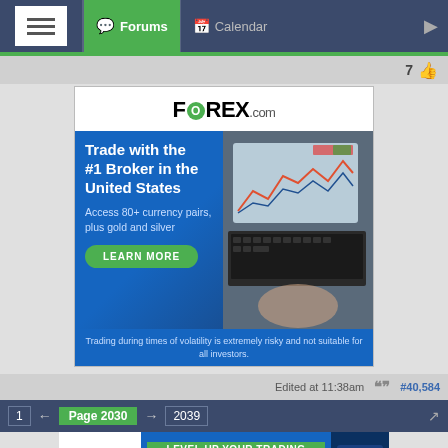Forums  Calendar
7
[Figure (screenshot): FOREX.com advertisement banner. Shows 'FOREX.com' logo at top, blue section with text 'Trade with the #1 Broker in the United States', 'Access 80+ currency pairs, plus gold and silver', 'LEARN MORE' green button, laptop with trading chart image, and disclaimer 'Trading during times of volatility is extremely risky and not suitable for all investors.']
Edited at 11:38am  #40,584
1  ←  Page 2030  →  2039
[Figure (screenshot): FOREX.com bottom banner ad with LEVEL UP YOUR TRADING text and Forex trading risk disclaimer.]